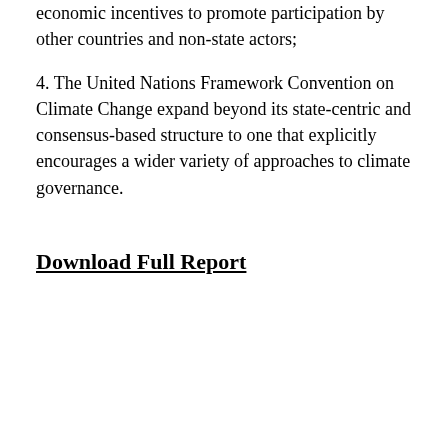economic incentives to promote participation by other countries and non-state actors;
4. The United Nations Framework Convention on Climate Change expand beyond its state-centric and consensus-based structure to one that explicitly encourages a wider variety of approaches to climate governance.
Download Full Report